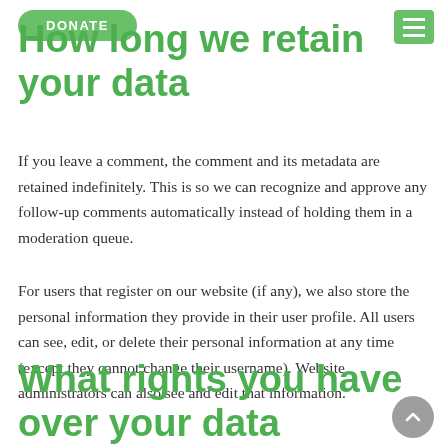DONATE
How long we retain your data
If you leave a comment, the comment and its metadata are retained indefinitely. This is so we can recognize and approve any follow-up comments automatically instead of holding them in a moderation queue.
For users that register on our website (if any), we also store the personal information they provide in their user profile. All users can see, edit, or delete their personal information at any time (except they cannot change their username). Website administrators can also see and edit that information.
What rights you have over your data